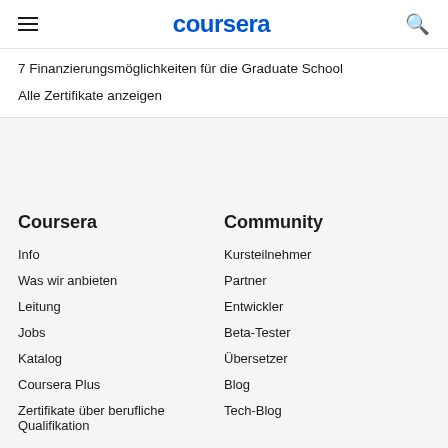coursera
7 Finanzierungsmöglichkeiten für die Graduate School
Alle Zertifikate anzeigen
Coursera
Info
Was wir anbieten
Leitung
Jobs
Katalog
Coursera Plus
Zertifikate über berufliche Qualifikation
Community
Kursteilnehmer
Partner
Entwickler
Beta-Tester
Übersetzer
Blog
Tech-Blog